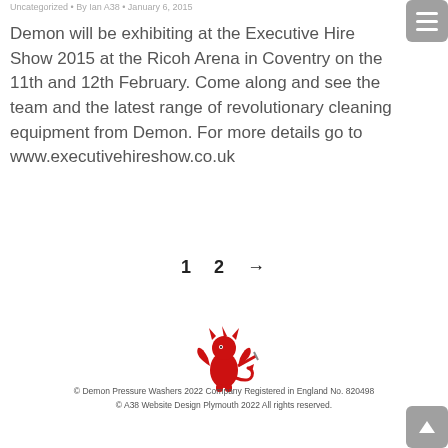Uncategorized • By Ian A38 • January 6, 2015
Demon will be exhibiting at the Executive Hire Show 2015 at the Ricoh Arena in Coventry on the 11th and 12th February. Come along and see the team and the latest range of revolutionary cleaning equipment from Demon. For more details go to www.executivehireshow.co.uk
1  2  →
[Figure (logo): Red cartoon devil/demon mascot logo holding a weapon]
© Demon Pressure Washers 2022 Company Registered in England No. 820498
© A38 Website Design Plymouth 2022 All rights reserved.